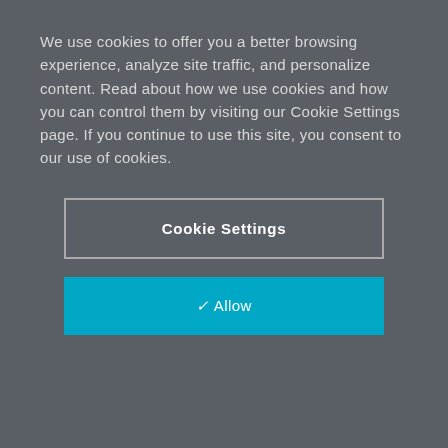We use cookies to offer you a better browsing experience, analyze site traffic, and personalize content. Read about how we use cookies and how you can control them by visiting our Cookie Settings page. If you continue to use this site, you consent to our use of cookies.
Cookie Settings
✓ Allow
[Figure (logo): Pitney Bowes logo with stylized P fingerprint icon]
Add value to our company and your own career by strengthening the speed, precision and accuracy